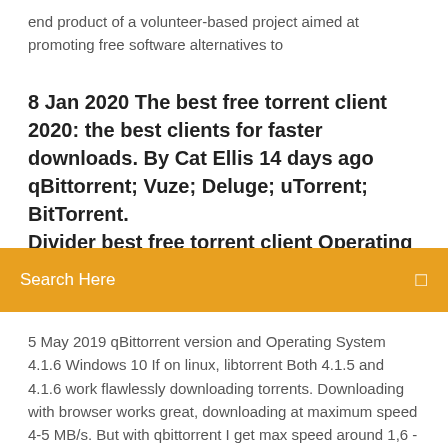end product of a volunteer-based project aimed at promoting free software alternatives to
8 Jan 2020 The best free torrent client 2020: the best clients for faster downloads. By Cat Ellis 14 days ago qBittorrent; Vuze; Deluge; uTorrent; BitTorrent. Divider best free torrent client Operating syste...
[Figure (other): Orange search bar with 'Search Here' placeholder text and a search icon on the right]
5 May 2019 qBittorrent version and Operating System 4.1.6 Windows 10 If on linux, libtorrent Both 4.1.5 and 4.1.6 work flawlessly downloading torrents. Downloading with browser works great, downloading at maximum speed 4-5 MB/s. But with qbittorrent I get max speed around 1,6 - 2,2 MB/s. 23 Dec 2019 Includes tests and PC download for Windows 32 and 64-bit systems Publisher: Christophe Dumez; OS: Windows 10 / 8 / 7 / Vista / XP  Télécharger qBittorrent : qBittorrent : Un client torrent convivial et puissant. 8 Nov 2019 To enjoy its features